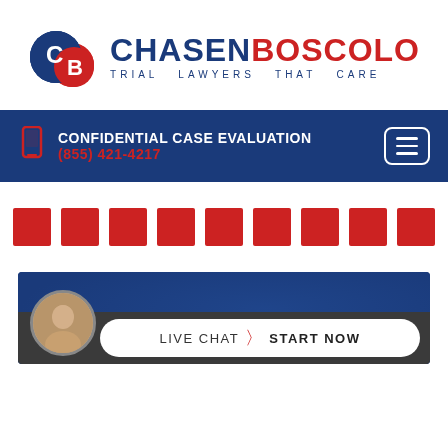[Figure (logo): Chasen Boscolo law firm logo with circular CB emblem and text 'CHASEN BOSCOLO - TRIAL LAWYERS THAT CARE']
CONFIDENTIAL CASE EVALUATION
(855) 421-4217
[Figure (other): Row of 9 red square blocks (redacted/placeholder content)]
[Figure (photo): Blue panel with dark overlay and live chat bar at bottom featuring attorney photo, 'LIVE CHAT' and 'START NOW' text]